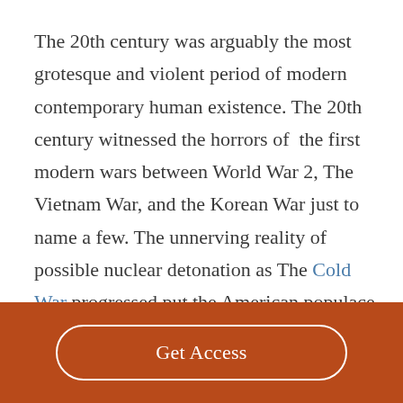The 20th century was arguably the most grotesque and violent period of modern contemporary human existence. The 20th century witnessed the horrors of the first modern wars between World War 2, The Vietnam War, and the Korean War just to name a few. The unnerving reality of possible nuclear detonation as The Cold War progressed put the American populace in a state of constant
Get Access